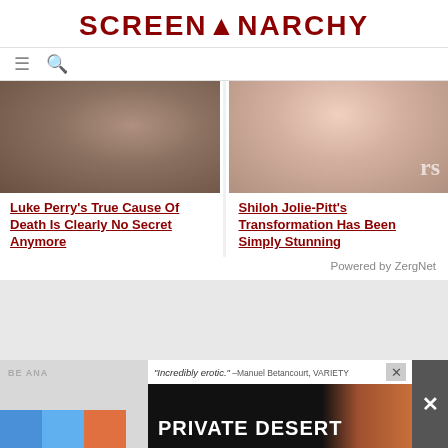SCREENANARCHY
[Figure (screenshot): Navigation bar with hamburger menu and search icon]
[Figure (photo): Cropped photo of a bearded man's face at a press event with 'En' text visible]
Luke Perry's True Cause Of Death Is Clearly No Secret Anymore
[Figure (photo): Cropped photo of a young woman's face at a press event with 'rs' text visible]
Shiloh Jolie-Pitt's Transformation Has Been Simply Stunning
Powered by ZergNet
[Figure (screenshot): Advertisement banner: "Incredibly erotic." -Manuel Betancourt, VARIETY | PRIVATE DESERT with close button X]
BE ANA